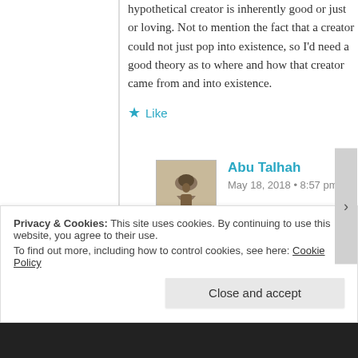hypothetical creator is inherently good or just or loving. Not to mention the fact that a creator could not just pop into existence, so I'd need a good theory as to where and how that creator came from and into existence.
Like
Abu Talhah
May 18, 2018 • 8:57 pm
“Not to mention the fact that a creator could not just pop into existence…”

Exactly.
Privacy & Cookies: This site uses cookies. By continuing to use this website, you agree to their use.
To find out more, including how to control cookies, see here: Cookie Policy
Close and accept